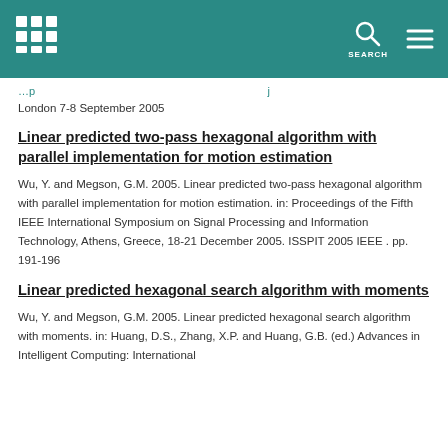London 7-8 September 2005
Linear predicted two-pass hexagonal algorithm with parallel implementation for motion estimation
Wu, Y. and Megson, G.M. 2005. Linear predicted two-pass hexagonal algorithm with parallel implementation for motion estimation. in: Proceedings of the Fifth IEEE International Symposium on Signal Processing and Information Technology, Athens, Greece, 18-21 December 2005. ISSPIT 2005 IEEE . pp. 191-196
Linear predicted hexagonal search algorithm with moments
Wu, Y. and Megson, G.M. 2005. Linear predicted hexagonal search algorithm with moments. in: Huang, D.S., Zhang, X.P. and Huang, G.B. (ed.) Advances in Intelligent Computing: International